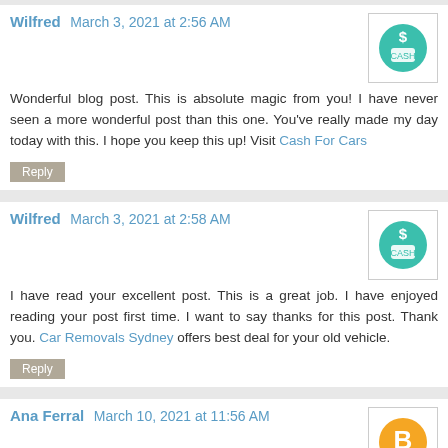Wilfred March 3, 2021 at 2:56 AM
Wonderful blog post. This is absolute magic from you! I have never seen a more wonderful post than this one. You've really made my day today with this. I hope you keep this up! Visit Cash For Cars
Reply
Wilfred March 3, 2021 at 2:58 AM
I have read your excellent post. This is a great job. I have enjoyed reading your post first time. I want to say thanks for this post. Thank you. Car Removals Sydney offers best deal for your old vehicle.
Reply
Ana Ferral March 10, 2021 at 11:56 AM
Car removal sunshine coast is the best in the cash for cars removal services provider in brisbane.
Reply